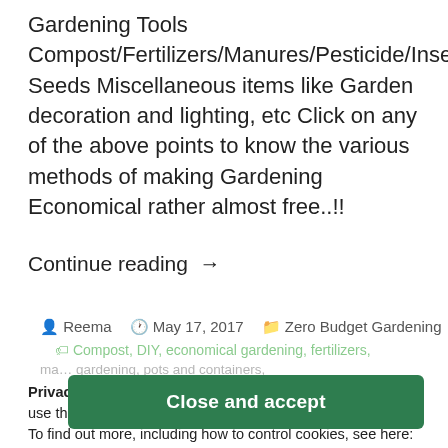Gardening Tools Compost/Fertilizers/Manures/Pesticide/Insecticide Seeds Miscellaneous items like Garden decoration and lighting, etc Click on any of the above points to know the various methods of making Gardening Economical rather almost free..!!
Continue reading →
Reema  May 17, 2017  Zero Budget Gardening
Compost, DIY, economical gardening, fertilizers,
Privacy & Cookies: This site uses cookies. By continuing to use this website, you agree to their use. To find out more, including how to control cookies, see here: Cookie Policy
Close and accept